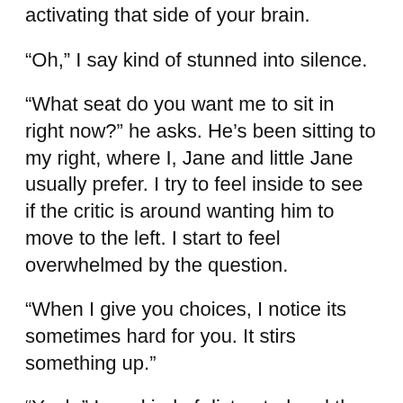activating that side of your brain.
“Oh,” I say kind of stunned into silence.
“What seat do you want me to sit in right now?” he asks. He’s been sitting to my right, where I, Jane and little Jane usually prefer. I try to feel inside to see if the critic is around wanting him to move to the left. I start to feel overwhelmed by the question.
“When I give you choices, I notice its sometimes hard for you. It stirs something up.”
“Yeah,” I say kind of distracted and then thinking about the right brain comment I suddenly say, “Let’s try you sitting on the left.”
“Ok, well we’ll do it mindfully,” he says and he stands up slowly and walks the one metre to the other chair. His